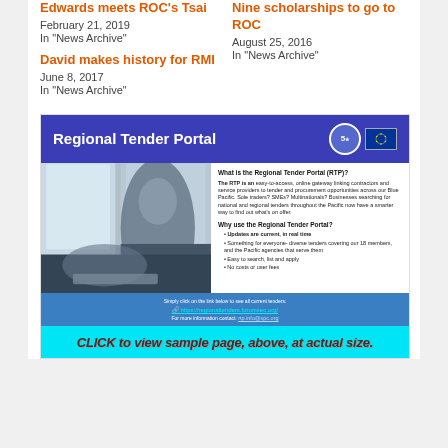Edwards meets ROC's Tsai
February 21, 2019
In "News Archive"
Nine scholarships to go to ROC
August 25, 2016
In "News Archive"
David makes history for RMI
June 8, 2017
In "News Archive"
[Figure (infographic): Regional Tender Portal promotional banner/infographic with blue header showing title 'Regional Tender Portal', logos, a photo of a person at a computer, text describing what the RTP is and why to use it, a blue footer with link https://regionaltenders.forumsec.org/, and a cyan click bar at bottom reading 'CLICK to view sample page, above, at actual size.']